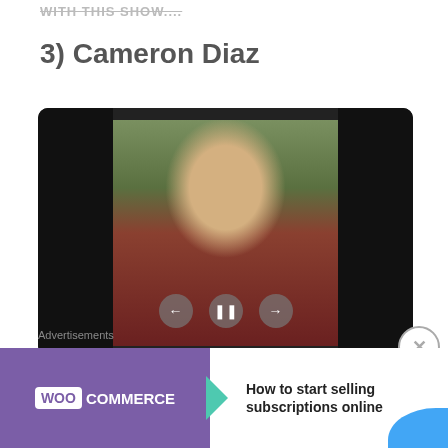WITH THIS SHOW....
3) Cameron Diaz
[Figure (photo): Video player showing a blonde woman in a red top seated at a table, with black letterbox bars on the sides and playback controls (back, pause, forward) visible at the bottom center.]
Advertisements
[Figure (screenshot): WooCommerce advertisement banner: purple background with WooCommerce logo, teal arrow, and text 'How to start selling subscriptions online'. Orange leaf and blue wave decorative shapes on the right.]